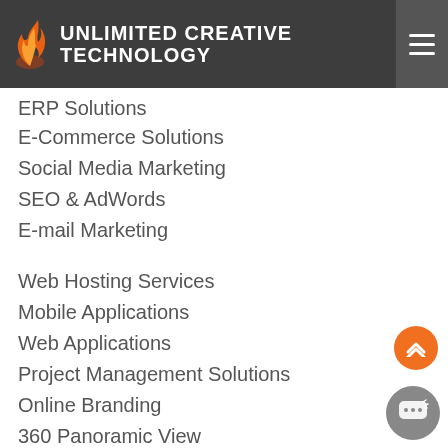UNLIMITED CREATIVE TECHNOLOGY
ERP Solutions
E-Commerce Solutions
Social Media Marketing
SEO & AdWords
E-mail Marketing
Web Hosting Services
Mobile Applications
Web Applications
Project Management Solutions
Online Branding
360 Panoramic View
Digital Catalogues
Online Reputation Management
Responsive Website Development